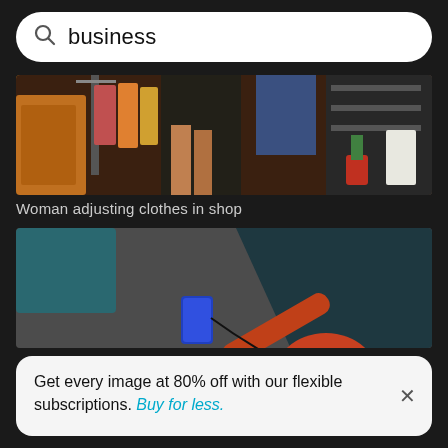business
[Figure (photo): Partial view of clothing shop — woman adjusting clothes on a rack, showing orange wicker furniture, colorful clothes, legs of a person, blue clothing, and shelving in background]
Woman adjusting clothes in shop
[Figure (photo): Overhead view of a person in an orange shirt sitting on a grey carpeted floor, holding a smartphone with earphones, near dark teal furniture legs on white flooring]
Get every image at 80% off with our flexible subscriptions. Buy for less.